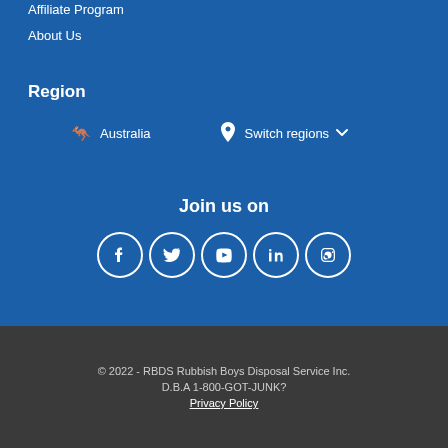Affiliate Program
About Us
Region
🦘 Australia    📍 Switch regions ⌄
Join us on
[Figure (infographic): Social media icons row: Facebook, Twitter, YouTube, LinkedIn, Instagram — white icons in circular borders on blue background]
© 2022 - RBDS Rubbish Boys Disposal Service Inc.
D.B.A 1-800-GOT-JUNK?
Privacy Policy